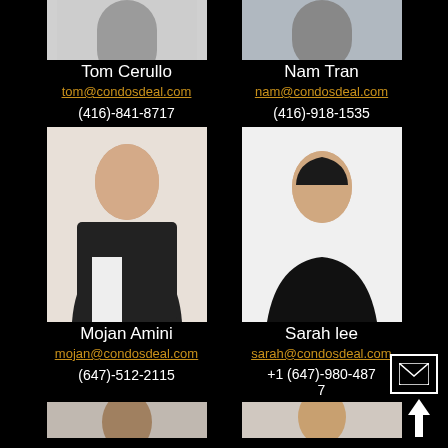[Figure (photo): Partial photo of Tom Cerullo (cropped top) showing man in dark suit with arms crossed]
[Figure (photo): Partial photo of Nam Tran (cropped top) showing woman in dark blazer with arms crossed]
Tom Cerullo
tom@condosdeal.com
(416)-841-8717
Nam Tran
nam@condosdeal.com
(416)-918-1535
[Figure (photo): Photo of Mojan Amini, woman with auburn hair in black blazer]
[Figure (photo): Photo of Sarah Lee, Asian woman with dark hair in black blazer]
Mojan Amini
mojan@condosdeal.com
(647)-512-2115
Sarah lee
sarah@condosdeal.com
+1 (647)-980-4877
[Figure (photo): Partial photo at bottom left, man partially visible]
[Figure (photo): Partial photo at bottom right, woman partially visible]